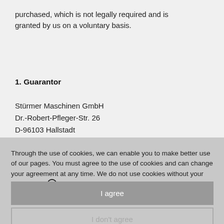purchased, which is not legally required and is granted by us on a voluntary basis.
1. Guarantor
Stürmer Maschinen GmbH
Dr.-Robert-Pfleger-Str. 26
D-96103 Hallstadt
Through the use of cookies, we can enable you to make better use of our pages. You must agree to the use of cookies and can change your agreement at any time. We do not use cookies without your agreement. ➔ Read more
I agree
I don't agree